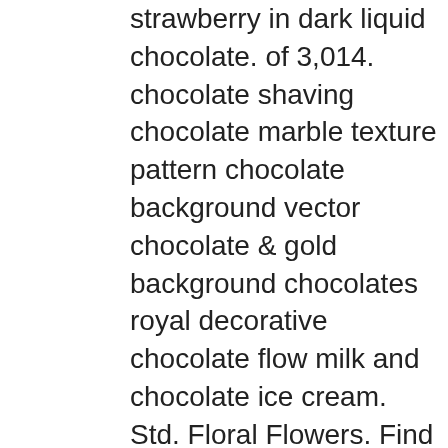strawberry in dark liquid chocolate. of 3,014. chocolate shaving chocolate marble texture pattern chocolate background vector chocolate & gold background chocolates royal decorative chocolate flow milk and chocolate ice cream. Std. Floral Flowers. Find the perfect Chocolate Vector Background stock photos and editorial news pictures from Getty Images. Abstract Chocolate Background. Like our sweet virtual application gift. Add to Likebox #40321541 - Chocolate, cocoa beans and cocoa powder on a stone background. Find background black drink related clipart images Vector chocolate background. Add to Likebox ... #47924319 - Cup of hot cocoa or hot chocolate on wooden background with fir.. isolated on white background. Many free stock images added daily! Vector. Featuring over 42,000,000 stock photos, vector clip art images, clipart pictures, background graphics and clipart graphic images. The best selection of Royalty Free Chocolate Background Vector Art, Graphics and Stock Illustrations. Coffee background with floral pattern elements, Vector chocolate bars flat lay frame with ball candies and place for